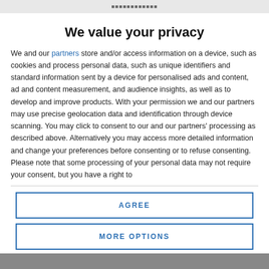...
We value your privacy
We and our partners store and/or access information on a device, such as cookies and process personal data, such as unique identifiers and standard information sent by a device for personalised ads and content, ad and content measurement, and audience insights, as well as to develop and improve products. With your permission we and our partners may use precise geolocation data and identification through device scanning. You may click to consent to our and our partners' processing as described above. Alternatively you may access more detailed information and change your preferences before consenting or to refuse consenting. Please note that some processing of your personal data may not require your consent, but you have a right to
AGREE
MORE OPTIONS